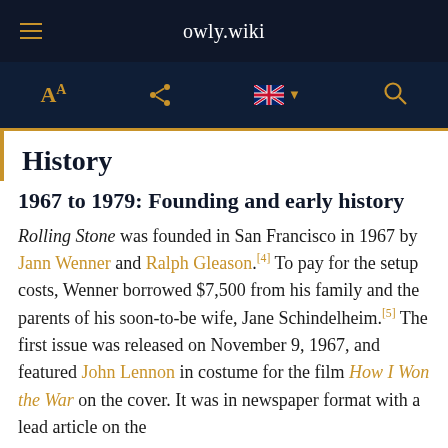owly.wiki
History
1967 to 1979: Founding and early history
Rolling Stone was founded in San Francisco in 1967 by Jann Wenner and Ralph Gleason.[4] To pay for the setup costs, Wenner borrowed $7,500 from his family and the parents of his soon-to-be wife, Jane Schindelheim.[5] The first issue was released on November 9, 1967, and featured John Lennon in costume for the film How I Won the War on the cover. It was in newspaper format with a lead article on the